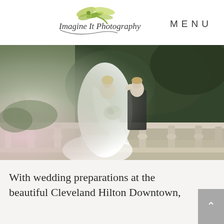[Figure (logo): Imagine It Photography logo with dragonfly and cursive script text]
MENU
[Figure (photo): Wedding couple standing on ornate stone balustrade terrace surrounded by greenery. Bride in white gown with veil holding bouquet, groom in dark suit. Romantic outdoor setting.]
With wedding preparations at the beautiful Cleveland Hilton Downtown,